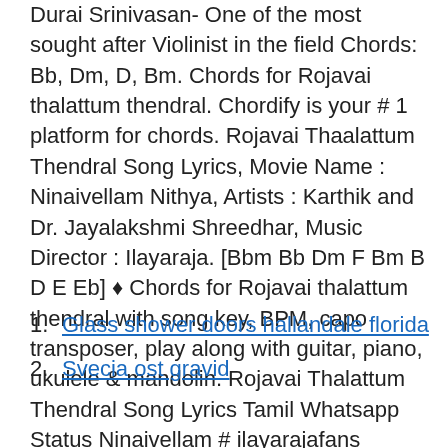Durai Srinivasan- One of the most sought after Violinist in the field Chords: Bb, Dm, D, Bm. Chords for Rojavai thalattum thendral. Chordify is your # 1 platform for chords. Rojavai Thaalattum Thendral Song Lyrics, Movie Name : Ninaivellam Nithya, Artists : Karthik and Dr. Jayalakshmi Shreedhar, Music Director : Ilayaraja. [Bbm Bb Dm F Bm B D E Eb] ♦ Chords for Rojavai thalattum thendral with song key, BPM, capo transposer, play along with guitar, piano, ukulele & mandolin. Rojavai Thalattum Thendral Song Lyrics Tamil Whatsapp Status Ninaivellam # ilayarajafans #spbfans #whatsappstatus.
Glass shower doors hallandale florida
Svecia ost gravid